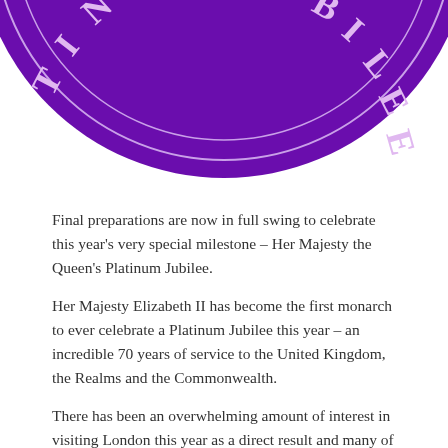[Figure (logo): Partial view of the Platinum Jubilee circular emblem/logo in purple. Text reads 'PLATINUM JUBILEE' arranged in an arc around a decorative crown motif. Only the lower portion of the circle is visible.]
Final preparations are now in full swing to celebrate this year's very special milestone – Her Majesty the Queen's Platinum Jubilee.
Her Majesty Elizabeth II has become the first monarch to ever celebrate a Platinum Jubilee this year – an incredible 70 years of service to the United Kingdom, the Realms and the Commonwealth.
There has been an overwhelming amount of interest in visiting London this year as a direct result and many of the events and celebrations taking place will culminate in a 4 day weekend at